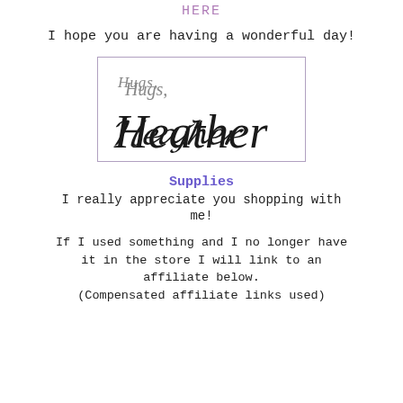HERE
I hope you are having a wonderful day!
[Figure (illustration): Handwritten signature reading 'Hugs, Heather' inside a bordered rectangle box]
Supplies
I really appreciate you shopping with me!
If I used something and I no longer have it in the store I will link to an affiliate below.
(Compensated affiliate links used)